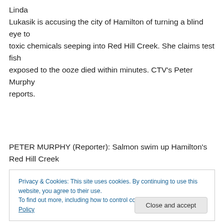Linda Lukasik is accusing the city of Hamilton of turning a blind eye to toxic chemicals seeping into Red Hill Creek. She claims test fish exposed to the ooze died within minutes. CTV's Peter Murphy reports.
PETER MURPHY (Reporter): Salmon swim up Hamilton's Red Hill Creek
Privacy & Cookies: This site uses cookies. By continuing to use this website, you agree to their use. To find out more, including how to control cookies, see here: Cookie Policy